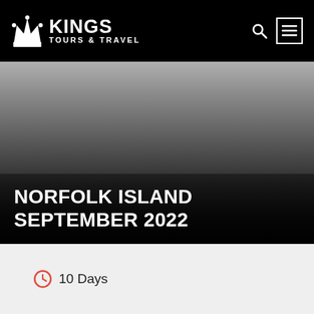KINGS TOURS & TRAVEL
[Figure (screenshot): Hero image with dark gradient background representing a Norfolk Island travel destination]
NORFOLK ISLAND SEPTEMBER 2022
10 Days